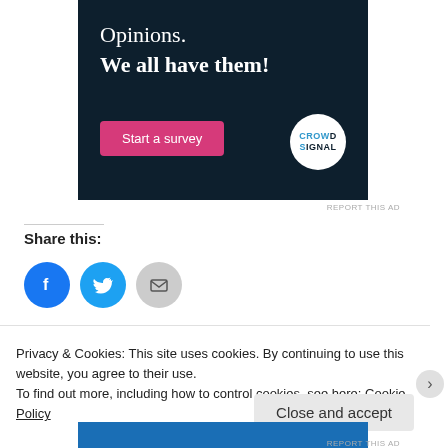[Figure (illustration): Advertisement banner with dark navy background. Shows text 'Opinions. We all have them!' with a pink 'Start a survey' button and CrowdSignal logo circle on white background.]
REPORT THIS AD
Share this:
[Figure (infographic): Three social share icon circles: Facebook (blue), Twitter (light blue), and Email (gray)]
Privacy & Cookies: This site uses cookies. By continuing to use this website, you agree to their use.
To find out more, including how to control cookies, see here: Cookie Policy
Close and accept